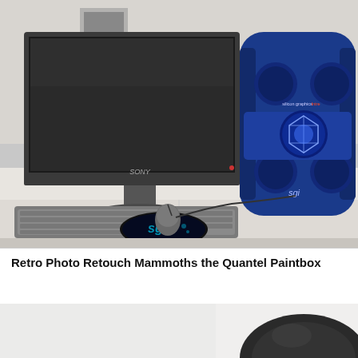[Figure (photo): A Sony flat-panel monitor and keyboard on a white desk, next to a blue SGI (Silicon Graphics) workstation tower with rounded corners and four circular indentations. An SGI branded mouse rests on a circular SGI mouse pad. The SGI logo and 'silicon graphics' text are visible on the blue tower.]
Retro Photo Retouch Mammoths the Quantel Paintbox
[Figure (photo): Partial view of a dark object, appears to be the top portion of another piece of vintage computing or AV equipment, dark grey/black colored, partially visible at the bottom of the page.]